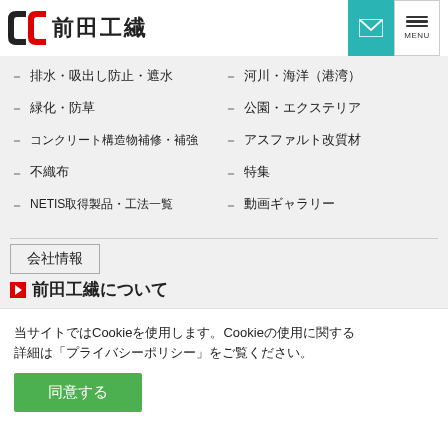前田工繊 ロゴ / メールボタン / MENUボタン
－ 排水・吸出し防止・遮水　　　－ 河川・海洋（港湾）
－ 緑化・防草　　　　　　　　　－ 公園・エクステリア
－ コンクリート構造物補修・補強　－ アスファルト改質材
－ 不織布　　　　　　　　　　　－ 特集
－ NETIS取得製品・工法一覧　　　－ 動画ギャラリー
会社情報
前田工繊について
－ 企業理念　　　　　　　　　　－ ごあいさつ
－ 会社概要　　　　　　　　　　－ 前田工繊の歩み
当サイトではCookieを使用します。Cookieの使用に関する詳細は「プライバシーポリシー」をご覧ください。
同意する